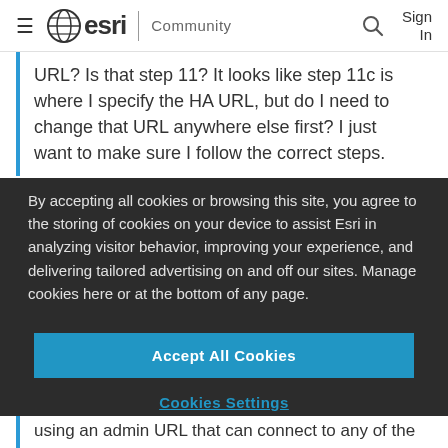≡ esri | Community   🔍 Sign In
URL? Is that step 11? It looks like step 11c is where I specify the HA URL, but do I need to change that URL anywhere else first? I just want to make sure I follow the correct steps.
By accepting all cookies or browsing this site, you agree to the storing of cookies on your device to assist Esri in analyzing visitor behavior, improving your experience, and delivering tailored advertising on and off our sites. Manage cookies here or at the bottom of any page.
Accept All Cookies
Cookies Settings
using an admin URL that can connect to any of the